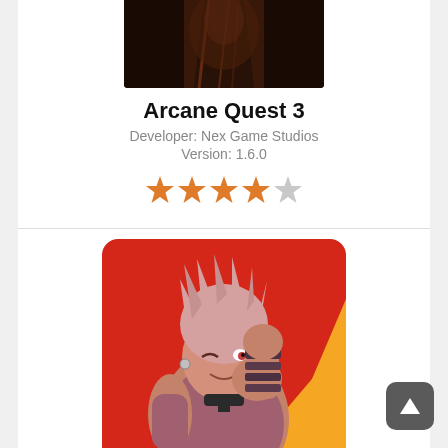[Figure (photo): Cropped top portion of a dark fantasy game screenshot for Arcane Quest 3]
Arcane Quest 3
Developer: Nex Game Studios
Version: 1.6.0
[Figure (illustration): Star rating: 4 out of 5 orange stars]
[Figure (illustration): Anime-style character artwork for Ego Sword: Idle Sword Clicker — a smirking fighter with spiky pink hair, collar, and wrapped arm guards on a red and yellow background]
Ego Sword: Idle Sword Clicker
Developer: Betdon